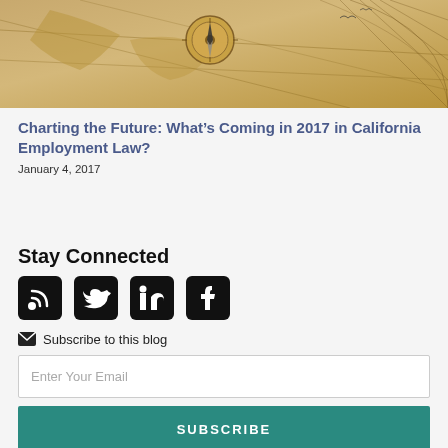[Figure (photo): Old antique map with compass, sepia tones, used as article header image]
Charting the Future: What's Coming in 2017 in California Employment Law?
January 4, 2017
Stay Connected
[Figure (infographic): Social media icons: RSS, Twitter, LinkedIn, Facebook]
Subscribe to this blog
Enter Your Email
SUBSCRIBE